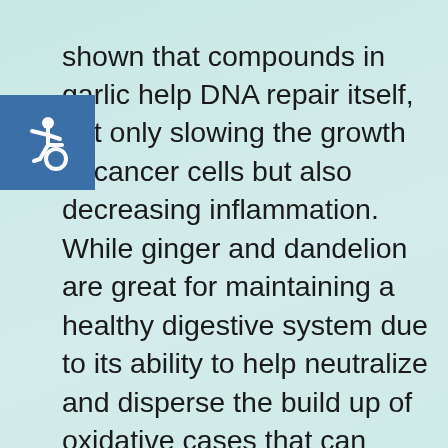shown that compounds in garlic help DNA repair itself, not only slowing the growth of cancer cells but also decreasing inflammation. While ginger and dandelion are great for maintaining a healthy digestive system due to its ability to help neutralize and disperse the build up of oxidative cases that can cause stomach pains and cramps. Cinnamon can help regulate your blood sugar by imitating the effects of insulin to increase glucose transport into cells. Rosemary and parsley are not only delicious flavors, but also help with keeping your heart healthy.